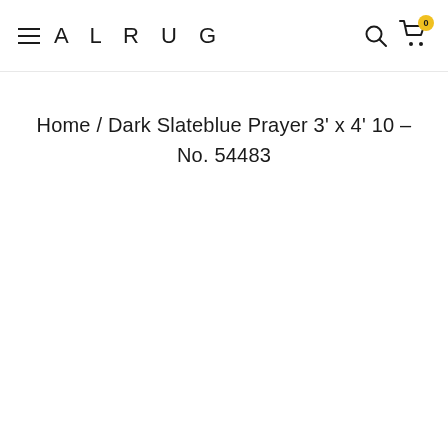ALRUG
Home / Dark Slateblue Prayer 3' x 4' 10 - No. 54483